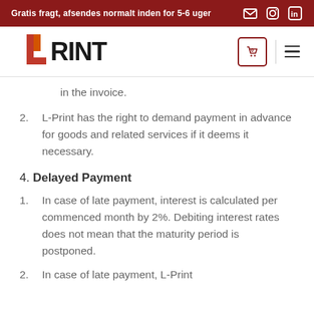Gratis fragt, afsendes normalt inden for 5-6 uger
[Figure (logo): L-Print company logo with orange/red stylized L shape and black RINT text]
in the invoice.
2. L-Print has the right to demand payment in advance for goods and related services if it deems it necessary.
4. Delayed Payment
1. In case of late payment, interest is calculated per commenced month by 2%. Debiting interest rates does not mean that the maturity period is postponed.
2. In case of late payment, L-Print